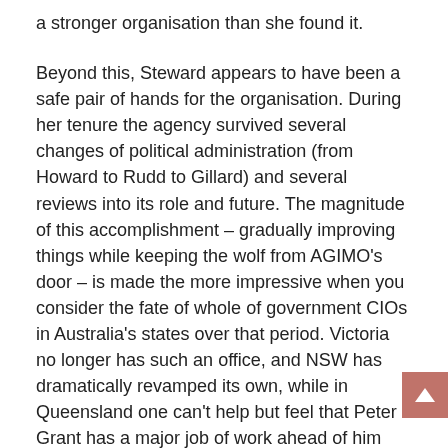a stronger organisation than she found it.
Beyond this, Steward appears to have been a safe pair of hands for the organisation. During her tenure the agency survived several changes of political administration (from Howard to Rudd to Gillard) and several reviews into its role and future. The magnitude of this accomplishment – gradually improving things while keeping the wolf from AGIMO's door – is made the more impressive when you consider the fate of whole of government CIOs in Australia's states over that period. Victoria no longer has such an office, and NSW has dramatically revamped its own, while in Queensland one can't help but feel that Peter Grant has a major job of work ahead of him that few would envy. Let's hope Australia's next whole of government CIO — if we get one, that is, Finance hasn't confirmed that yet — can build on Steward's legacy and take the office to the next stage.